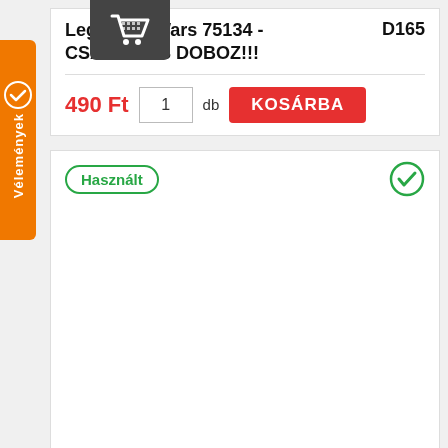[Figure (other): Orange vertical sidebar tab with shopping cart verified icon and 'Vélemények' text rotated vertically]
Lego Star Wars 75134 - CSAK ÜRES DOBOZ!!!   D165
490 Ft   1  db  KOSÁRBA
Használt